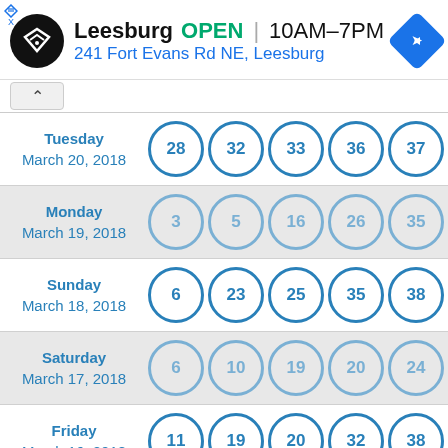[Figure (infographic): Ad banner for a store in Leesburg showing logo, OPEN status, hours 10AM-7PM, address 241 Fort Evans Rd NE Leesburg, and navigation icon]
Tuesday March 20, 2018 — 28 32 33 36 37
Monday March 19, 2018 — 3 5 16 26 35
Sunday March 18, 2018 — 6 23 25 35 38
Saturday March 17, 2018 — 6 10 19 20 24
Friday March 16, 2018 — 11 19 20 32 38
Thursday — 8 11 20 24 38 (partial)